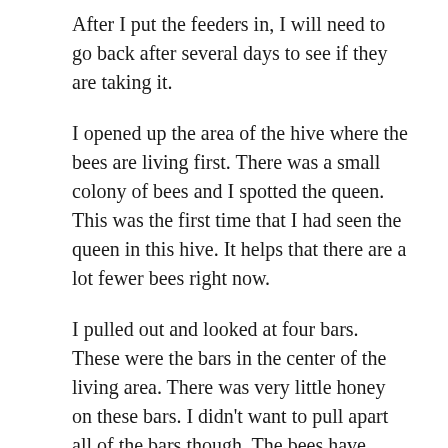After I put the feeders in, I will need to go back after several days to see if they are taking it.
I opened up the area of the hive where the bees are living first. There was a small colony of bees and I spotted the queen. This was the first time that I had seen the queen in this hive. It helps that there are a lot fewer bees right now.
I pulled out and looked at four bars. These were the bars in the center of the living area. There was very little honey on these bars. I didn't want to pull apart all of the bars though. The bees have worked hard to winterize their home with propolis and I don't want to disturb everything. I closed up their living area and tried to tighten the bars as much as I could. Next I opened the feeder area and put in the syrup feeders.